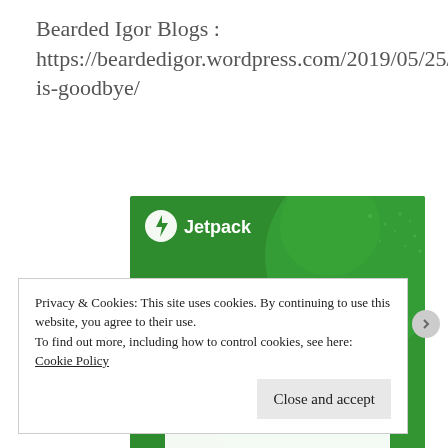Bearded Igor Blogs : https://beardedigor.wordpress.com/2019/05/25/this-is-goodbye/
[Figure (screenshot): Jetpack advertisement banner with green background. Shows Jetpack logo (lightning bolt icon) at top left, decorative lighter green circles, and white bold text reading 'The best real-time WordPress backup plugin'.]
Privacy & Cookies: This site uses cookies. By continuing to use this website, you agree to their use.
To find out more, including how to control cookies, see here: Cookie Policy
Close and accept